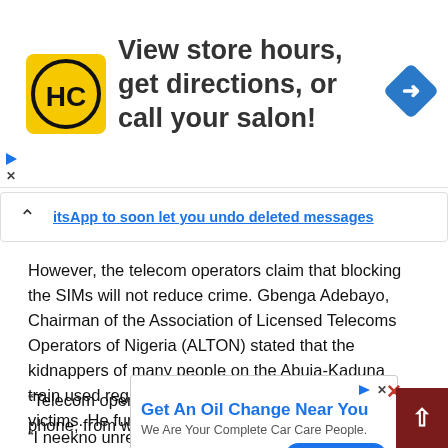[Figure (screenshot): Advertisement banner: HC logo in yellow square, text 'View store hours, get directions, or call your salon!' with blue navigation diamond icon on right]
itsApp to soon let you undo deleted messages
However, the telecom operators claim that blocking the SIMs will not reduce crime. Gbenga Adebayo, Chairman of the Association of Licensed Telecoms Operators of Nigeria (ALTON) stated that the kidnappers of many people on the Abuja-Kaduna train used registered SIMs to call relatives of their victims. He further explains
“Telecom operators can trace the geo-location of the phone, from w[...] nd provid[...] action.
“I nee[...] kno unregistered SIM cards that are still on the network of any
[Figure (screenshot): Inline advertisement: 'Get An Oil Change Near You' from Firestone, 'We Are Your Complete Car Care People.' with Learn More button]